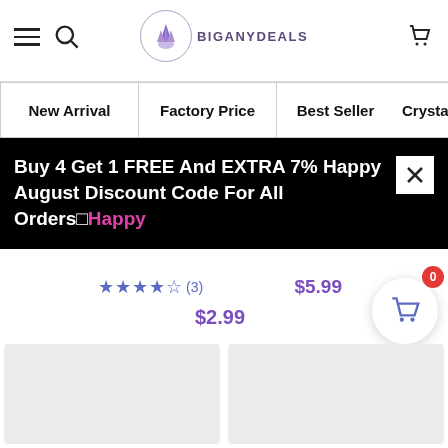[Figure (screenshot): Website header with hamburger menu, search icon, BIGANYDEALS logo with purple crystal icon, and shopping cart icon]
New Arrival
Factory Price
Best Seller
Crystal
Buy 4 Get 1 FREE And EXTRA 7% Happy August Discount Code For All Orders□Happy
★★★★☆ (3)
$5.99
$2.99
[Figure (screenshot): Two product placeholder cards (light gray boxes) showing product images loading]
[Figure (other): Floating cart button with red badge showing 0 and scroll-to-top button]